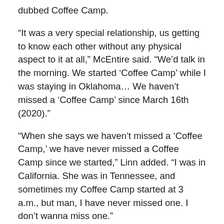dubbed Coffee Camp.
“It was a very special relationship, us getting to know each other without any physical aspect to it at all,” McEntire said. “We’d talk in the morning. We started ‘Coffee Camp’ while I was staying in Oklahoma… We haven’t missed a ‘Coffee Camp’ since March 16th (2020).”
“When she says we haven’t missed a ‘Coffee Camp,’ we have never missed a Coffee Camp since we started,” Linn added. “I was in California. She was in Tennessee, and sometimes my Coffee Camp started at 3 a.m., but man, I have never missed one. I don’t wanna miss one.”